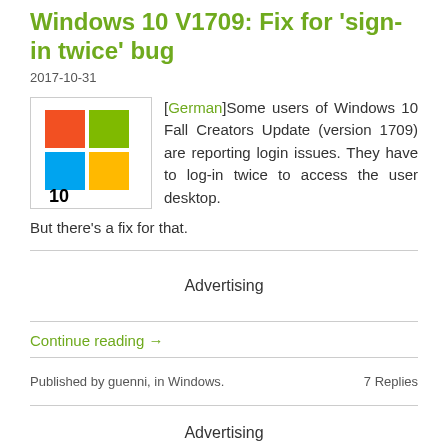Windows 10 V1709: Fix for 'sign-in twice' bug
2017-10-31
[German]Some users of Windows 10 Fall Creators Update (version 1709) are reporting login issues. They have to log-in twice to access the user desktop. But there's a fix for that.
Advertising
Continue reading →
Published by guenni, in Windows.
7 Replies
Advertising